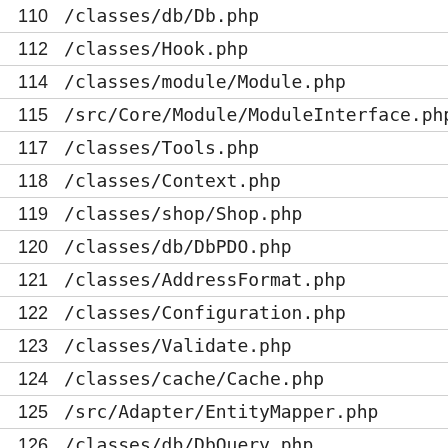| Line | File |
| --- | --- |
| 110 | /classes/db/Db.php |
| 112 | /classes/Hook.php |
| 114 | /classes/module/Module.php |
| 115 | /src/Core/Module/ModuleInterface.php |
| 117 | /classes/Tools.php |
| 118 | /classes/Context.php |
| 119 | /classes/shop/Shop.php |
| 120 | /classes/db/DbPDO.php |
| 121 | /classes/AddressFormat.php |
| 122 | /classes/Configuration.php |
| 123 | /classes/Validate.php |
| 124 | /classes/cache/Cache.php |
| 125 | /src/Adapter/EntityMapper.php |
| 126 | /classes/db/DbQuery.php |